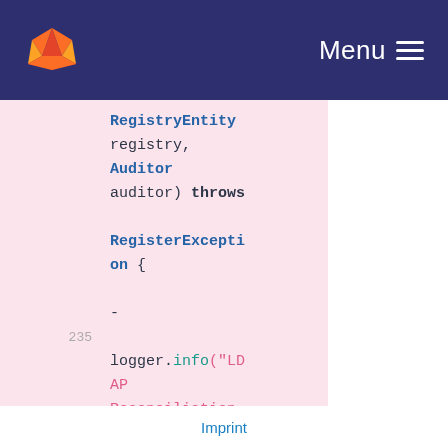Menu
[Figure (screenshot): Code snippet showing Java method signature with RegistryEntity registry, Auditor auditor) throws RegisterException { followed by logger.info call with LDAP Reconciliation message]
Imprint